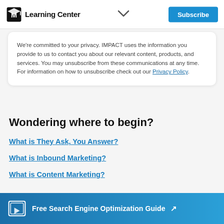Learning Center  Subscribe
We're committed to your privacy. IMPACT uses the information you provide to us to contact you about our relevant content, products, and services. You may unsubscribe from these communications at any time. For information on how to unsubscribe check out our Privacy Policy.
Wondering where to begin?
What is They Ask, You Answer?
What is Inbound Marketing?
What is Content Marketing?
Free Search Engine Optimization Guide ↗